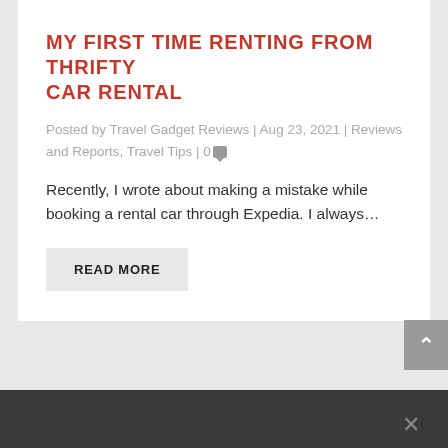MY FIRST TIME RENTING FROM THRIFTY CAR RENTAL
Posted by Travel Gadget Reviews | Aug 23, 2021 | Reviews and Reports, Travel Tips | 0
Recently, I wrote about making a mistake while booking a rental car through Expedia.  I always…
READ MORE